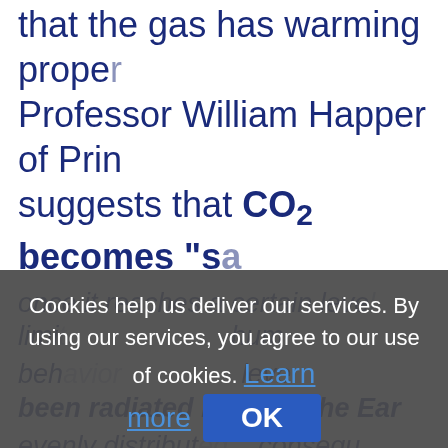that the gas has warming prope... Professor William Happer of Prin... suggests that CO₂ becomes "sa...
Cookies help us deliver our services. By using our services, you agree to our use of cookies. Learn more  OK